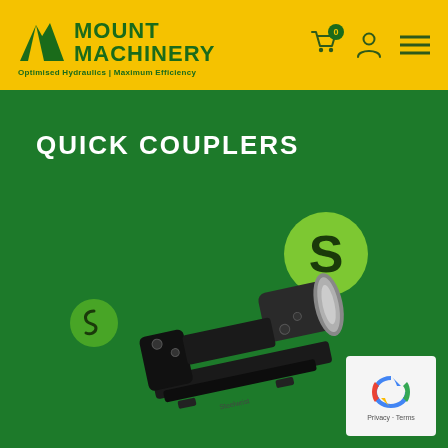Mount Machinery — Optimised Hydraulics | Maximum Efficiency
QUICK COUPLERS
[Figure (photo): A black hydraulic quick coupler attachment device photographed on a green background, with a brand logo badge]
Privacy - Terms